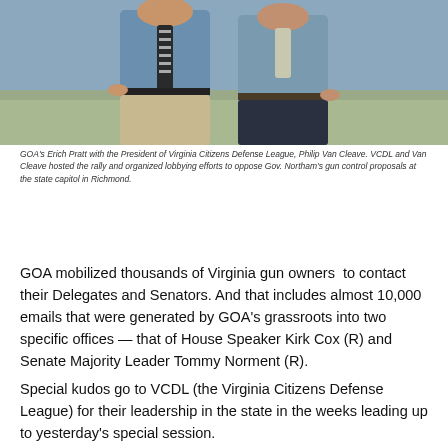[Figure (photo): Two men standing side by side outdoors on grass. Left man wearing a blue shirt with a black and white striped tie and khaki pants, right man wearing a blue shirt and dark pants.]
GOA's Erich Pratt with the President of Virginia Citizens Defense League, Philip Van Cleave. VCDL and Van Cleave hosted the rally and organized lobbying efforts to oppose Gov. Northam's gun control proposals at the state capitol in Richmond.
GOA mobilized thousands of Virginia gun owners  to contact their Delegates and Senators. And that includes almost 10,000 emails that were generated by GOA's grassroots into two specific offices — that of House Speaker Kirk Cox (R) and Senate Majority Leader Tommy Norment (R).
Special kudos go to VCDL (the Virginia Citizens Defense League) for their leadership in the state in the weeks leading up to yesterday's special session.